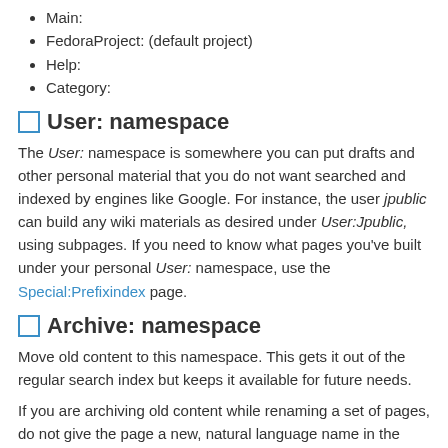Main:
FedoraProject: (default project)
Help:
Category:
User: namespace
The User: namespace is somewhere you can put drafts and other personal material that you do not want searched and indexed by engines like Google. For instance, the user jpublic can build any wiki materials as desired under User:Jpublic, using subpages. If you need to know what pages you've built under your personal User: namespace, use the Special:Prefixindex page.
Archive: namespace
Move old content to this namespace. This gets it out of the regular search index but keeps it available for future needs.
If you are archiving old content while renaming a set of pages, do not give the page a new, natural language name in the Archive: namespace. It should remain under its old name in